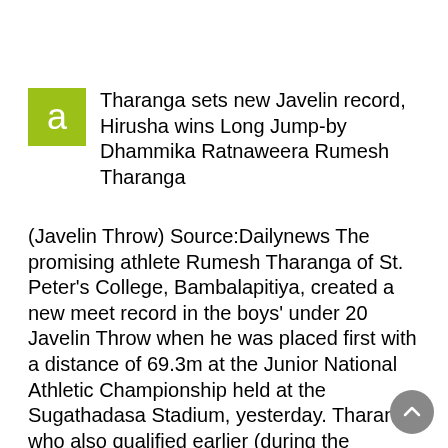Tharanga sets new Javelin record, Hirusha wins Long Jump-by Dhammika Ratnaweera Rumesh Tharanga
(Javelin Throw) Source:Dailynews The promising athlete Rumesh Tharanga of St. Peter’s College, Bambalapitiya, created a new meet record in the boys’ under 20 Javelin Throw when he was placed first with a distance of 69.3m at the Junior National Athletic Championship held at the Sugathadasa Stadium, yesterday. Tharanga who also qualified earlier (during the selections trials) for the forthcoming World Junior Athletic Championship in Colombia once again came up with good performances to finish in first place with a new record while Dinesh Dilshan of St. Mary’s College, Chilaw, was placed second with a 64.95m